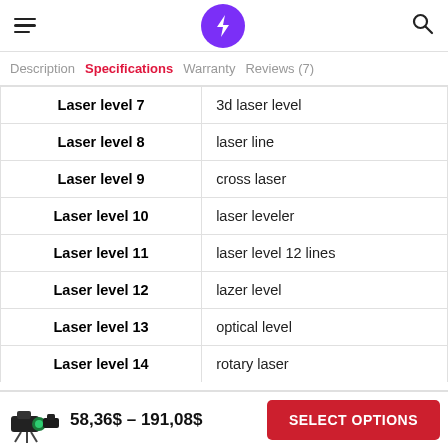Navigation header with hamburger menu, lightning bolt logo, and search icon
Description  Specifications  Warranty  Reviews (7)
|  |  |
| --- | --- |
| Laser level 7 | 3d laser level |
| Laser level 8 | laser line |
| Laser level 9 | cross laser |
| Laser level 10 | laser leveler |
| Laser level 11 | laser level 12 lines |
| Laser level 12 | lazer level |
| Laser level 13 | optical level |
| Laser level 14 | rotary laser |
58,36$ – 191,08$  SELECT OPTIONS